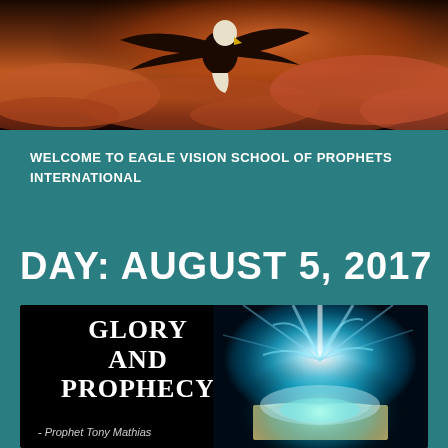[Figure (photo): Bald eagle flying through dramatic orange and red-lit cloudy sky, used as header image]
WELCOME TO EAGLE VISION SCHOOL OF PROPHETS INTERNATIONAL
DAY: AUGUST 5, 2017
[Figure (illustration): Dark background promotional image showing 'GLORY AND PROPHECY' text on left with an open glowing book on right emitting bright teal/white light, attributed to Prophet Tony Mathias]